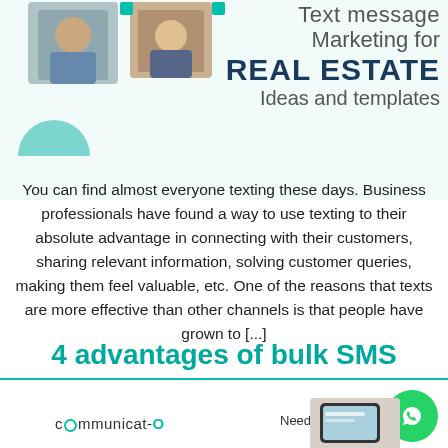[Figure (photo): Top header with photos of people and text message marketing for real estate title]
Text message Marketing for REAL ESTATE Ideas and templates
You can find almost everyone texting these days. Business professionals have found a way to use texting to their absolute advantage in connecting with their customers, sharing relevant information, solving customer queries, making them feel valuable, etc. One of the reasons that texts are more effective than other channels is that people have grown to [...]
4 advantages of bulk SMS messaging via Salesforce
communicat-O   Need Help? Chat with us   Privacy · Terms